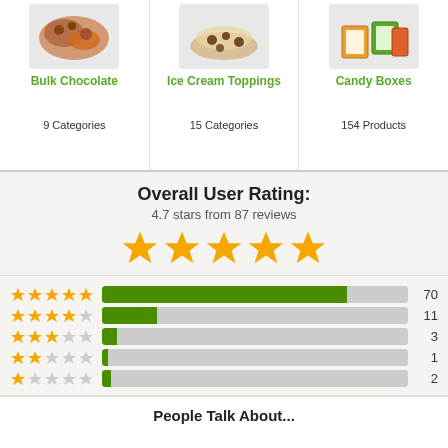[Figure (photo): Product image for Bulk Chocolate]
Bulk Chocolate
9 Categories
[Figure (photo): Product image for Ice Cream Toppings]
Ice Cream Toppings
15 Categories
[Figure (photo): Product image for Candy Boxes]
Candy Boxes
154 Products
Overall User Rating:
4.7 stars from 87 reviews
[Figure (infographic): 5 gold stars rating display]
[Figure (bar-chart): Rating distribution]
People Talk About...